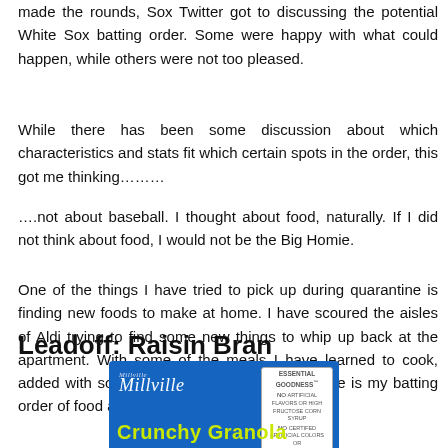made the rounds, Sox Twitter got to discussing the potential White Sox batting order. Some were happy with what could happen, while others were not too pleased.
While there has been some discussion about which characteristics and stats fit which certain spots in the order, this got me thinking………
….not about baseball. I thought about food, naturally. If I did not think about food, I would not be the Big Homie.
One of the things I have tried to pick up during quarantine is finding new foods to make at home. I have scoured the aisles of Aldi trying to find some new things to whip up back at the apartment. With some of the meals I have learned to cook, added with some old non-cooked favorites, here is my batting order of food at home.
Leadoff: Raisin Bran
[Figure (photo): Millville Crunchy Granola cereal box with blue background, Millville logo in white italic script, yellow 'Crunchy Granola' text at bottom, and 'Essential Goodness' badge in top right corner.]